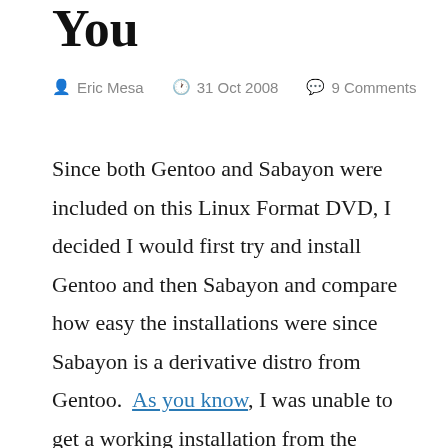You
Eric Mesa  31 Oct 2008  9 Comments
Since both Gentoo and Sabayon were included on this Linux Format DVD, I decided I would first try and install Gentoo and then Sabayon and compare how easy the installations were since Sabayon is a derivative distro from Gentoo.  As you know, I was unable to get a working installation from the LiveCD of Gentoo.  If this was the